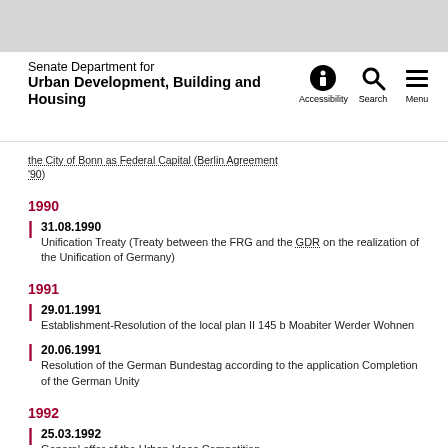Senate Department for Urban Development, Building and Housing
the City of Bonn as Federal Capital (Berlin Agreement '90)
1990
31.08.1990 — Unification Treaty (Treaty between the FRG and the GDR on the realization of the Unification of Germany)
1991
29.01.1991 — Establishment-Resolution of the local plan II 145 b Moabiter Werder Wohnen
20.06.1991 — Resolution of the German Bundestag according to the application Completion of the German Unity
1992
25.03.1992 — General offer of the Urban Ideas Competition Spreebogen